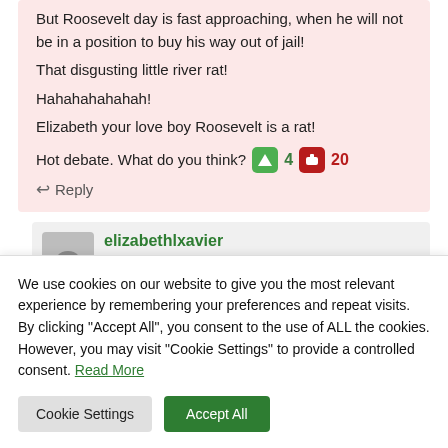But Roosevelt day is fast approaching, when he will not be in a position to buy his way out of jail!

That disgusting little river rat!

Hahahahahahah!

Elizabeth your love boy Roosevelt is a rat!
Hot debate. What do you think? 4 20
Reply
elizabethlxavier
We use cookies on our website to give you the most relevant experience by remembering your preferences and repeat visits. By clicking "Accept All", you consent to the use of ALL the cookies. However, you may visit "Cookie Settings" to provide a controlled consent. Read More
Cookie Settings
Accept All